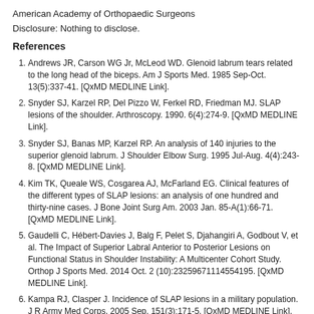American Academy of Orthopaedic Surgeons
Disclosure: Nothing to disclose.
References
Andrews JR, Carson WG Jr, McLeod WD. Glenoid labrum tears related to the long head of the biceps. Am J Sports Med. 1985 Sep-Oct. 13(5):337-41. [QxMD MEDLINE Link].
Snyder SJ, Karzel RP, Del Pizzo W, Ferkel RD, Friedman MJ. SLAP lesions of the shoulder. Arthroscopy. 1990. 6(4):274-9. [QxMD MEDLINE Link].
Snyder SJ, Banas MP, Karzel RP. An analysis of 140 injuries to the superior glenoid labrum. J Shoulder Elbow Surg. 1995 Jul-Aug. 4(4):243-8. [QxMD MEDLINE Link].
Kim TK, Queale WS, Cosgarea AJ, McFarland EG. Clinical features of the different types of SLAP lesions: an analysis of one hundred and thirty-nine cases. J Bone Joint Surg Am. 2003 Jan. 85-A(1):66-71. [QxMD MEDLINE Link].
Gaudelli C, Hébert-Davies J, Balg F, Pelet S, Djahangiri A, Godbout V, et al. The Impact of Superior Labral Anterior to Posterior Lesions on Functional Status in Shoulder Instability: A Multicenter Cohort Study. Orthop J Sports Med. 2014 Oct. 2 (10):23259671114554195. [QxMD MEDLINE Link].
Kampa RJ, Clasper J. Incidence of SLAP lesions in a military population. J R Army Med Corps. 2005 Sep. 151(3):171-5. [QxMD MEDLINE Link].
Waterman BR, Cameron KL, Hsiao M, Langston JR, Clark NJ, Owens BD. Trends in the diagnosis of SLAP lesions in the US military. Knee Surg Sports Traumatol Arthrosc. 2013 Dec 10. [QxMD MEDLINE Link].